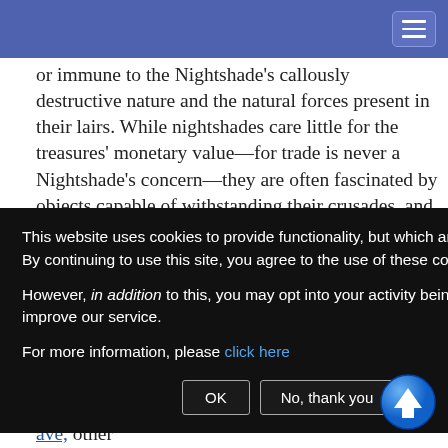[Navigation bar with menu button]
or immune to the Nightshade's callously destructive nature and the natural forces present in their lairs. While nightshades care little for the treasures' monetary value—for trade is never a Nightshade's concern—they are often fascinated by objects capable of withstanding their crusades, and may use their considerable intellects to employ magic items to their benefit. Many also keep trophies from [cookie overlay covers] s of those [trol them—] y the skulls of [mon] and bind
[Figure (screenshot): Cookie consent overlay popup with black background. Text reads: 'This website uses cookies to provide functionality, but which are not used to track your activity. By continuing to use this site, you agree to the use of these cookies. However, in addition to this, you may opt into your activity being tracked in order to help us improve our service. For more information, please click here' with OK and No, thank you buttons.]
[ing,] [ave,] other types of nightshades are believed to exist, but